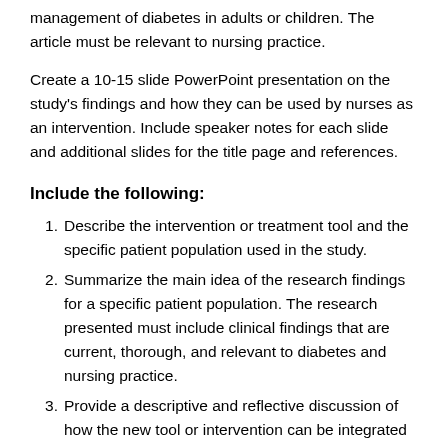management of diabetes in adults or children. The article must be relevant to nursing practice.
Create a 10-15 slide PowerPoint presentation on the study's findings and how they can be used by nurses as an intervention. Include speaker notes for each slide and additional slides for the title page and references.
Include the following:
1. Describe the intervention or treatment tool and the specific patient population used in the study.
2. Summarize the main idea of the research findings for a specific patient population. The research presented must include clinical findings that are current, thorough, and relevant to diabetes and nursing practice.
3. Provide a descriptive and reflective discussion of how the new tool or intervention can be integrated